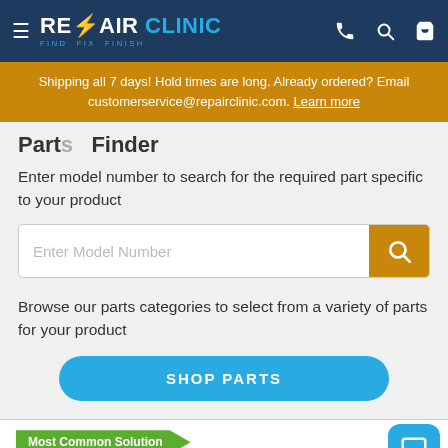REPAIR CLINIC — FIND. FIX. FINISH.
Shipping all 7 days! Hold times are long. Already ordered? Email customerservice@repairclinic.com. Learn more
Parts Finder
Enter model number to search for the required part specific to your product
Browse our parts categories to select from a variety of parts for your product
SHOP PARTS
Most Common Solution
Main Control Board